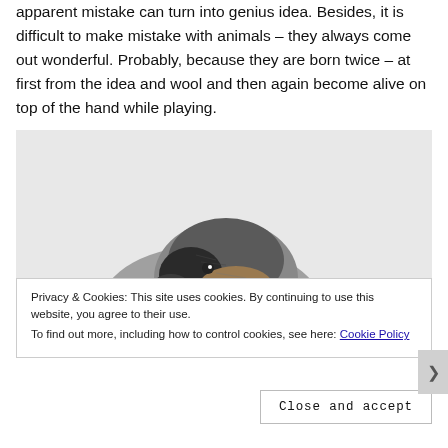apparent mistake can turn into genius idea. Besides, it is difficult to make mistake with animals – they always come out wonderful. Probably, because they are born twice – at first from the idea and wool and then again become alive on top of the hand while playing.
[Figure (photo): A felted wool animal (appears to be a bird or duck) with dark grey, brown and white coloring, shown from above against a light grey background. Only the head/top portion of the animal is visible.]
Privacy & Cookies: This site uses cookies. By continuing to use this website, you agree to their use.
To find out more, including how to control cookies, see here: Cookie Policy
Close and accept